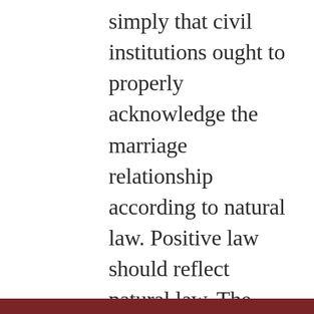simply that civil institutions ought to properly acknowledge the marriage relationship according to natural law. Positive law should reflect natural law. The governing authority adds NOTHING to the marriage relationship. It does not empower the marriage to work or not work. Civil government simply